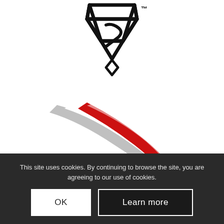[Figure (logo): Black geometric logo resembling a stylized diamond/gem shape with an S-curve inside, with a TM mark, centered at top of page]
[Figure (logo): RHA logo with swooping road/highway graphic in red and grey, with large letters RHA below]
This site uses cookies. By continuing to browse the site, you are agreeing to our use of cookies.
OK
Learn more